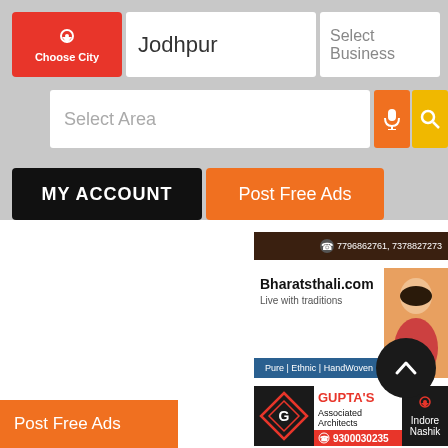[Figure (screenshot): Mobile app UI showing Choose City button with red background and location pin icon]
Jodhpur
Select Business
Select Area
MY ACCOUNT
Post Free Ads
[Figure (photo): Ad banner with phone numbers 7796862761, 7378827273]
[Figure (photo): Bharatsthali.com banner - Live with traditions, Pure | Ethnic | HandWoven]
[Figure (photo): Gupta's Associated Architects banner with phone 9300030235, cities Indore and Nashik]
Post Free Ads